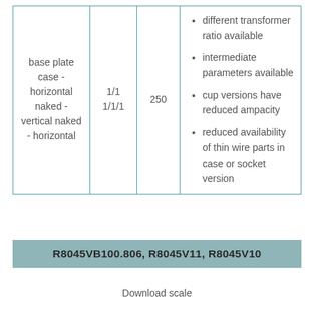| base plate case - horizontal naked - vertical naked - horizontal | 1/1
1/1/1 | 250 | • different transformer ratio available
• intermediate parameters available
• cup versions have reduced ampacity
• reduced availability of thin wire parts in case or socket version |
R8045VB100.806, R8045V11, R8045V10
Download scale